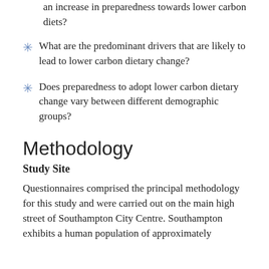an increase in preparedness towards lower carbon diets?
What are the predominant drivers that are likely to lead to lower carbon dietary change?
Does preparedness to adopt lower carbon dietary change vary between different demographic groups?
Methodology
Study Site
Questionnaires comprised the principal methodology for this study and were carried out on the main high street of Southampton City Centre. Southampton exhibits a human population of approximately